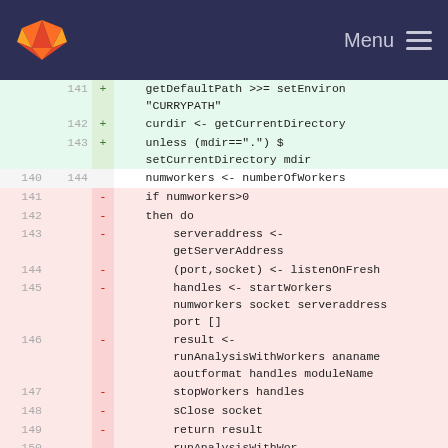GitLab Menu
[Figure (screenshot): GitLab code diff view showing lines 141-149 with additions (green) and deletions (red) in Haskell source code]
| old | new | sign | code |
| --- | --- | --- | --- |
|  | 141 | + |     getDefaultPath >>= setEnviron "CURRYPATH" |
|  | 142 | + |     curdir <- getCurrentDirectory |
|  | 143 | + |     unless (mdir==".") $ setCurrentDirectory mdir |
| 140 | 144 |   |     numworkers <- numberOfWorkers |
| 141 |  | - |     if numworkers>0 |
| 142 |  | - |     then do |
| 143 |  | - |         serveraddress <- getServerAddress |
| 144 |  | - |         (port,socket) <- listenOnFresh |
| 145 |  | - |         handles <- startWorkers numworkers socket serveraddress port [] |
| 146 |  | - |         result <- runAnalysisWithWorkers ananame aoutformat handles moduleName |
| 147 |  | - |         stopWorkers handles |
| 148 |  | - |         sClose socket |
| 149 |  | - |         return result |
| 150 |  | - | ... |